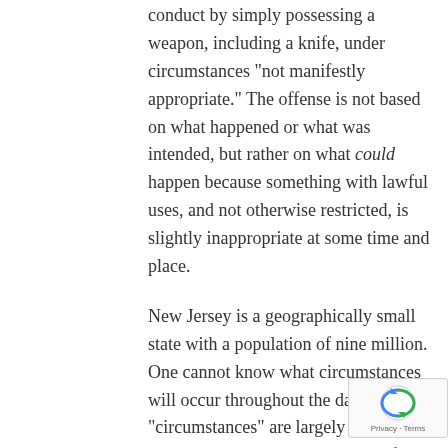criminal intent or engaging in any criminal conduct by simply possessing a weapon, including a knife, under circumstances “not manifestly appropriate.” The offense is not based on what happened or what was intended, but rather on what could happen because something with lawful uses, and not otherwise restricted, is slightly inappropriate at some time and place.
New Jersey is a geographically small state with a population of nine million. One cannot know what circumstances will occur throughout the day as “circumstances” are largely beyond one’s control. The variables are infinite, the offense is indefinite, does not require that any harm actually occur, and results in a felony conviction. The constitutionality was upheld by